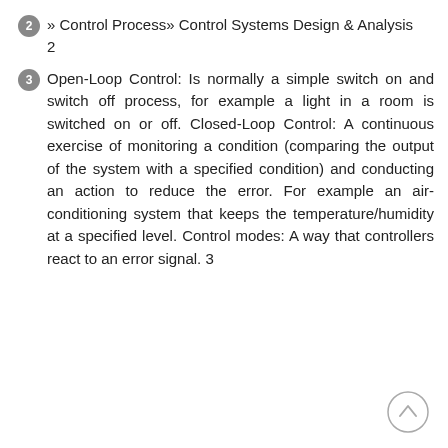2 » Control Process» Control Systems Design & Analysis 2
3 Open-Loop Control: Is normally a simple switch on and switch off process, for example a light in a room is switched on or off. Closed-Loop Control: A continuous exercise of monitoring a condition (comparing the output of the system with a specified condition) and conducting an action to reduce the error. For example an air-conditioning system that keeps the temperature/humidity at a specified level. Control modes: A way that controllers react to an error signal. 3